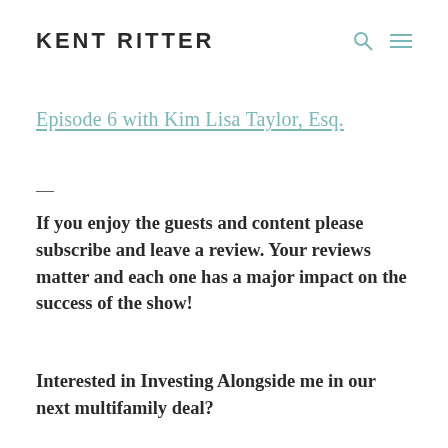KENT RITTER
Episode 6 with Kim Lisa Taylor, Esq.
—
If you enjoy the guests and content please subscribe and leave a review.  Your reviews matter and each one has a major impact on the success of the show!
Interested in Investing Alongside me in our next multifamily deal?